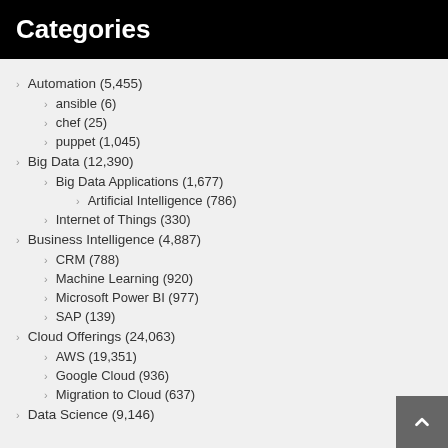Categories
Automation (5,455)
ansible (6)
chef (25)
puppet (1,045)
Big Data (12,390)
Big Data Applications (1,677)
Artificial Intelligence (786)
Internet of Things (330)
Business Intelligence (4,887)
CRM (788)
Machine Learning (920)
Microsoft Power BI (977)
SAP (139)
Cloud Offerings (24,063)
AWS (19,351)
Google Cloud (936)
Migration to Cloud (637)
Data Science (9,146)